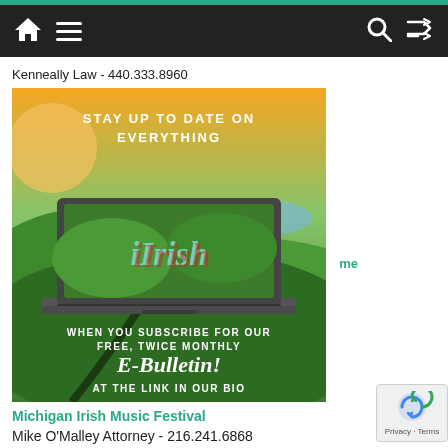Navigation bar with home, menu, search, shuffle icons
Kenneally Law - 440.333.8960
[Figure (illustration): iIrish e-bulletin subscription advertisement showing a laptop with aerial Irish countryside view. Text: STAY UP TO DATE ON EVERYTHING iIrish WHEN YOU SUBSCRIBE FOR OUR FREE, TWICE MONTHLY E-Bulletin! AT THE LINK IN OUR BIO]
me
Michigan Irish Music Festival
Mike O'Malley Attorney - 216.241.6868
Mullin Bros.
Murphy Irish Arts